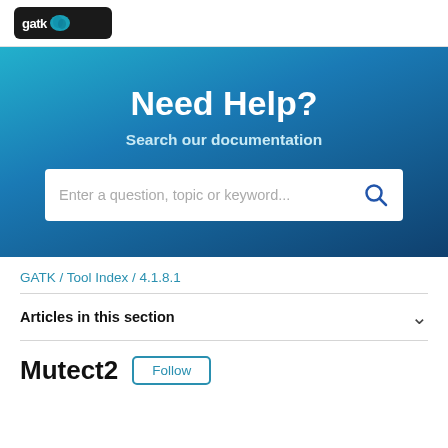gatk logo
[Figure (screenshot): Hero banner with teal-to-dark-blue gradient background containing the title 'Need Help?', subtitle 'Search our documentation', and a white search bar with placeholder text 'Enter a question, topic or keyword...' and a search icon.]
GATK / Tool Index / 4.1.8.1
Articles in this section
Mutect2
Follow